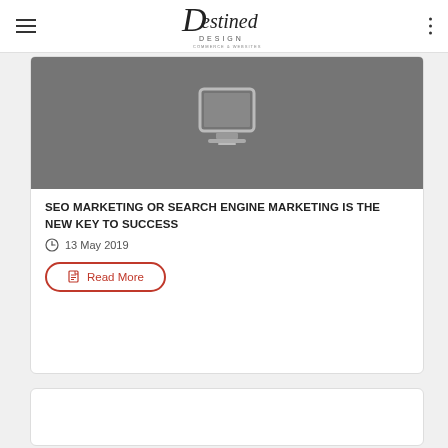Destined Design
[Figure (screenshot): Gray rectangle showing a laptop/monitor icon on dark gray background]
SEO MARKETING OR SEARCH ENGINE MARKETING IS THE NEW KEY TO SUCCESS
13 May 2019
Read More